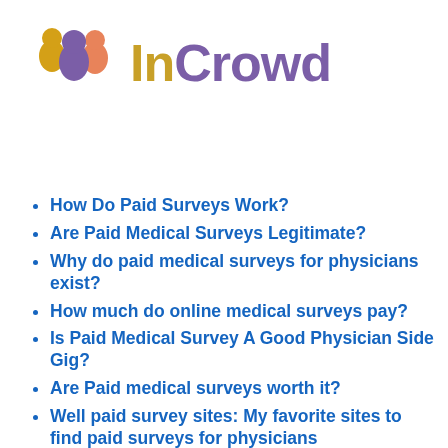[Figure (logo): InCrowd logo with three person silhouettes in gold, purple, and orange/salmon colors, with the text 'InCrowd' where 'In' is gold and 'Crowd' is purple]
How Do Paid Surveys Work?
Are Paid Medical Surveys Legitimate?
Why do paid medical surveys for physicians exist?
How much do online medical surveys pay?
Is Paid Medical Survey A Good Physician Side Gig?
Are Paid medical surveys worth it?
Well paid survey sites: My favorite sites to find paid surveys for physicians
M3 Global Research